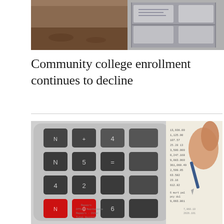[Figure (photo): Top banner photograph showing what appears to be an indoor environment, possibly a classroom or institutional space on the left, and storage or equipment on the right.]
Community college enrollment continues to decline
[Figure (photo): Photo of a calculator with dark and red keys in the foreground and a hand holding a pen over a financial document with numbers in the background.]